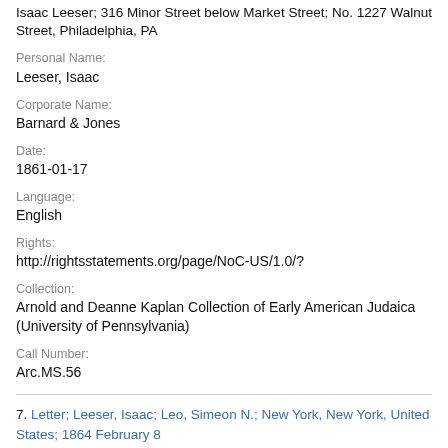Isaac Leeser; 316 Minor Street below Market Street; No. 1227 Walnut Street, Philadelphia, PA
Personal Name:
Leeser, Isaac
Corporate Name:
Barnard & Jones
Date:
1861-01-17
Language:
English
Rights:
http://rightsstatements.org/page/NoC-US/1.0/?
Collection:
Arnold and Deanne Kaplan Collection of Early American Judaica (University of Pennsylvania)
Call Number:
Arc.MS.56
7. Letter; Leeser, Isaac; Leo, Simeon N.; New York, New York, United States; 1864 February 8